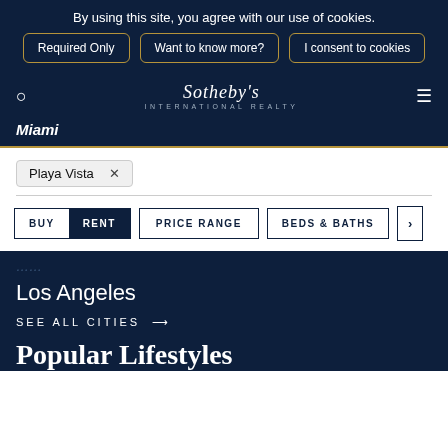By using this site, you agree with our use of cookies.
Required Only | Want to know more? | I consent to cookies
Sotheby's International Realty
Miami
Playa Vista ×
BUY | RENT | PRICE RANGE | BEDS & BATHS | >
Los Angeles
SEE ALL CITIES →
Popular Lifestyles